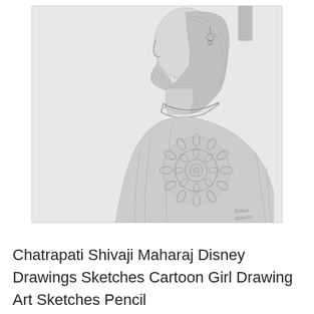[Figure (illustration): A pencil sketch of Chatrapati Shivaji Maharaj in profile view (facing left), showing his head, neck and upper body/shoulder. He has a beard, long dark hair, is wearing a necklace/chain, traditional attire with a floral mandala design on the shoulder. A signature and date (18/04/20) appear in the lower right corner of the sketch. The sketch is on a light gray background.]
Chatrapati Shivaji Maharaj Disney Drawings Sketches Cartoon Girl Drawing Art Sketches Pencil